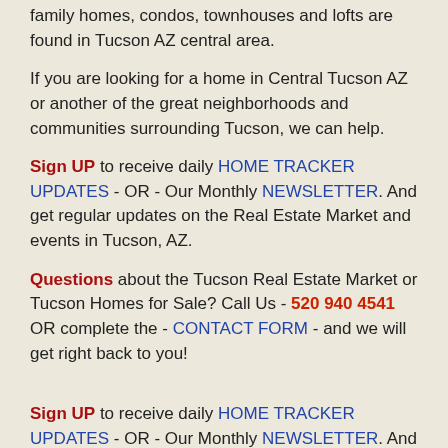family homes, condos, townhouses and lofts are found in Tucson AZ central area.
If you are looking for a home in Central Tucson AZ or another of the great neighborhoods and communities surrounding Tucson, we can help.
Sign UP to receive daily HOME TRACKER UPDATES - OR - Our Monthly NEWSLETTER. And get regular updates on the Real Estate Market and events in Tucson, AZ.
Questions about the Tucson Real Estate Market or Tucson Homes for Sale? Call Us - 520 940 4541 OR complete the - CONTACT FORM - and we will get right back to you!
Sign UP to receive daily HOME TRACKER UPDATES - OR - Our Monthly NEWSLETTER. And get regular updates